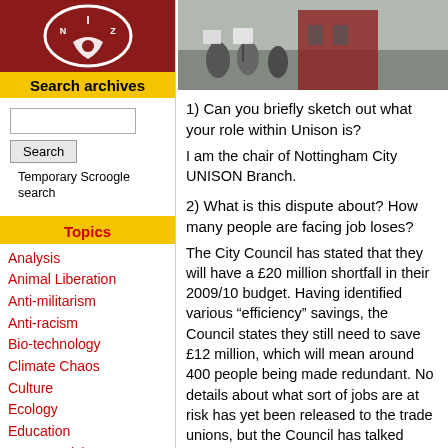[Figure (logo): Red circular logo with white design, possibly a fist or similar symbol]
Search archives
Temporary Scroogle search
Topics
Analysis
Animal Liberation
Anti-militarism
Anti-racism
Bio-technology
Climate Chaos
Culture
Ecology
Education
Energy Crisis
Free Spaces
Gender
Globalisation
Health
[Figure (photo): Protest scene with people holding signs outside a building]
1) Can you briefly sketch out what your role within Unison is?
I am the chair of Nottingham City UNISON Branch.
2) What is this dispute about? How many people are facing job loses?
The City Council has stated that they will have a £20 million shortfall in their 2009/10 budget. Having identified various “efficiency” savings, the Council states they still need to save £12 million, which will mean around 400 people being made redundant. No details about what sort of jobs are at risk has yet been released to the trade unions, but the Council has talked about “back room” jobs being